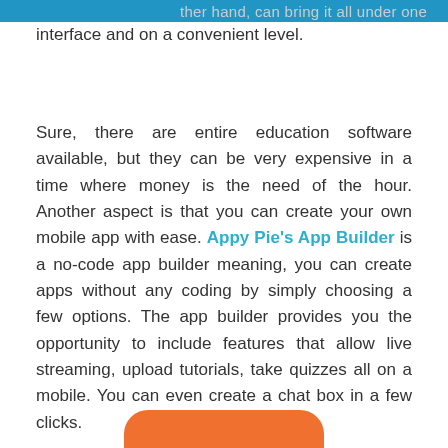ther hand, can bring it all under one interface and on a convenient level.
Sure, there are entire education software available, but they can be very expensive in a time where money is the need of the hour. Another aspect is that you can create your own mobile app with ease. Appy Pie's App Builder is a no-code app builder meaning, you can create apps without any coding by simply choosing a few options. The app builder provides you the opportunity to include features that allow live streaming, upload tutorials, take quizzes all on a mobile. You can even create a chat box in a few clicks.